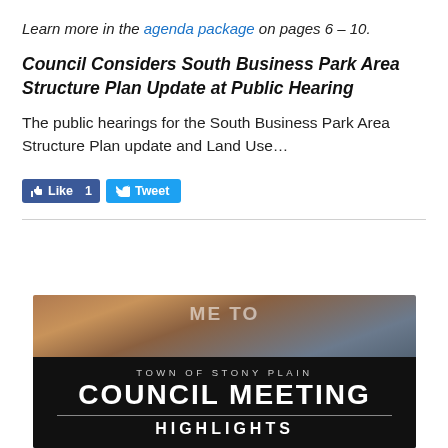Learn more in the agenda package on pages 6 – 10.
Council Considers South Business Park Area Structure Plan Update at Public Hearing
The public hearings for the South Business Park Area Structure Plan update and Land Use...
[Figure (screenshot): Social media like and tweet buttons]
[Figure (photo): Town of Stony Plain Council Meeting Highlights banner over a background photo of wooden signage and building exterior. Black banner overlay reads TOWN OF STONY PLAIN / COUNCIL MEETING / HIGHLIGHTS]